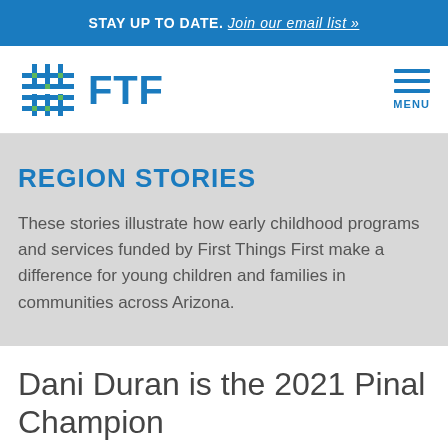STAY UP TO DATE. Join our email list »
[Figure (logo): FTF (First Things First) logo with grid icon in blue and green]
REGION STORIES
These stories illustrate how early childhood programs and services funded by First Things First make a difference for young children and families in communities across Arizona.
Dani Duran is the 2021 Pinal Champion